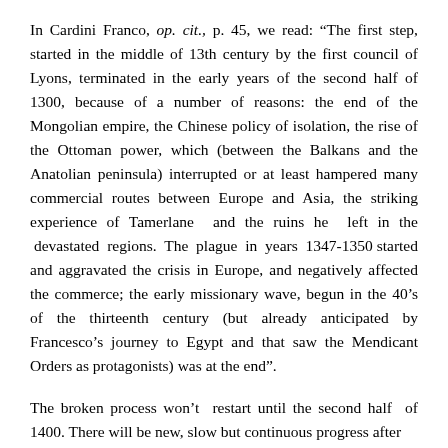In Cardini Franco, op. cit., p. 45, we read: “The first step, started in the middle of 13th century by the first council of Lyons, terminated in the early years of the second half of 1300, because of a number of reasons: the end of the Mongolian empire, the Chinese policy of isolation, the rise of the Ottoman power, which (between the Balkans and the Anatolian peninsula) interrupted or at least hampered many commercial routes between Europe and Asia, the striking experience of Tamerlane  and the ruins he  left in the  devastated  regions.  The  plague  in  years  1347-1350 started and aggravated the crisis in Europe, and negatively affected the commerce; the early missionary wave, begun in the 40’s of the thirteenth century (but already anticipated by Francesco’s journey to Egypt and that saw the Mendicant Orders as protagonists) was at the end”.
The broken process won’t  restart until the second half  of 1400. There will be new, slow but continuous progress after